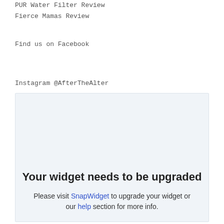PUR Water Filter Review
Fierce Mamas Review
Find us on Facebook
Instagram @AfterTheAlter
[Figure (screenshot): Widget upgrade notice box with title 'Your widget needs to be upgraded' and instructions to visit SnapWidget or help section.]